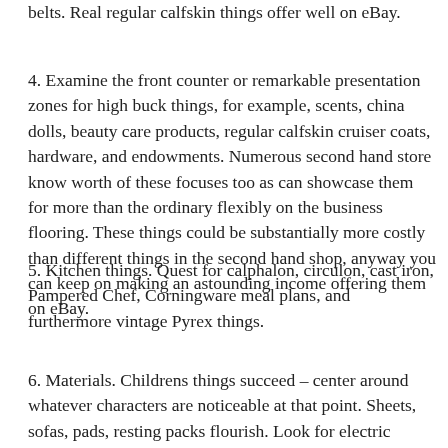belts. Real regular calfskin things offer well on eBay.
4. Examine the front counter or remarkable presentation zones for high buck things, for example, scents, china dolls, beauty care products, regular calfskin cruiser coats, hardware, and endowments. Numerous second hand store know worth of these focuses too as can showcase them for more than the ordinary flexibly on the business flooring. These things could be substantially more costly than different things in the second hand shop, anyway you can keep on making an astounding income offering them on eBay.
5. Kitchen things. Quest for calphalon, circulon, cast iron, Pampered Chef, Corningware meal plans, and furthermore vintage Pyrex things.
6. Materials. Childrens things succeed – center around whatever characters are noticeable at that point. Sheets, sofas, pads, resting packs flourish. Look for electric covers all